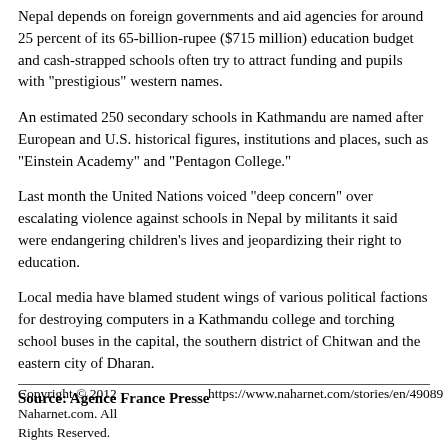Nepal depends on foreign governments and aid agencies for around 25 percent of its 65-billion-rupee ($715 million) education budget and cash-strapped schools often try to attract funding and pupils with "prestigious" western names.
An estimated 250 secondary schools in Kathmandu are named after European and U.S. historical figures, institutions and places, such as "Einstein Academy" and "Pentagon College."
Last month the United Nations voiced "deep concern" over escalating violence against schools in Nepal by militants it said were endangering children's lives and jeopardizing their right to education.
Local media have blamed student wings of various political factions for destroying computers in a Kathmandu college and torching school buses in the capital, the southern district of Chitwan and the eastern city of Dharan.
Source: Agence France Presse
Copyright © 2012 Naharnet.com. All Rights Reserved.
https://www.naharnet.com/stories/en/49089